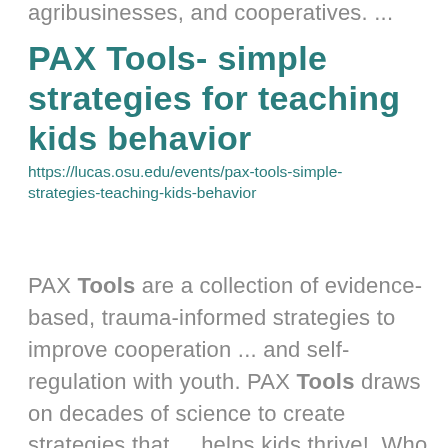agribusinesses, and cooperatives. ...
PAX Tools- simple strategies for teaching kids behavior
https://lucas.osu.edu/events/pax-tools-simple-strategies-teaching-kids-behavior
PAX Tools are a collection of evidence-based, trauma-informed strategies to improve cooperation ... and self-regulation with youth. PAX Tools draws on decades of science to create strategies that ... helps kids thrive! Who should attend a PAX Tools training? PAX Tools is intended for any caring adult ...